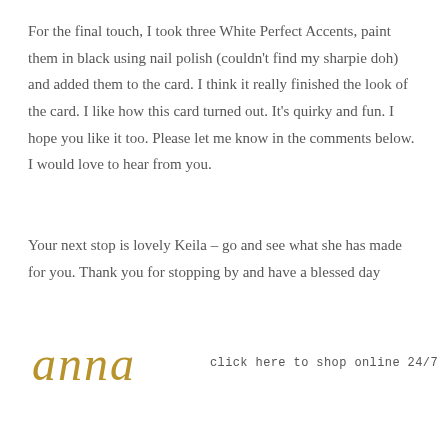For the final touch, I took three White Perfect Accents, paint them in black using nail polish (couldn't find my sharpie doh) and added them to the card. I think it really finished the look of the card. I like how this card turned out. It's quirky and fun. I hope you like it too. Please let me know in the comments below. I would love to hear from you.
Your next stop is lovely Keila – go and see what she has made for you. Thank you for stopping by and have a blessed day
[Figure (illustration): Cursive handwritten signature reading 'Anna' in gold/brown color]
click here to shop online 24/7